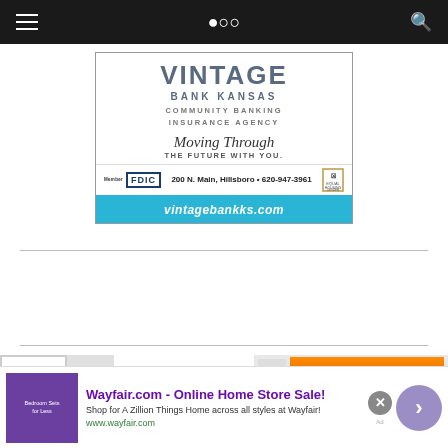[Figure (advertisement): Vintage Bank Kansas advertisement with community banking and insurance agency tagline, address 200 N. Main, Hillsboro, 620-947-3961, FDIC member, vintagebankks.com]
[Figure (advertisement): Infolinks and quote request advertisement banner]
[Figure (advertisement): Wayfair.com online home store sale advertisement with purple bedroom furniture thumbnail]